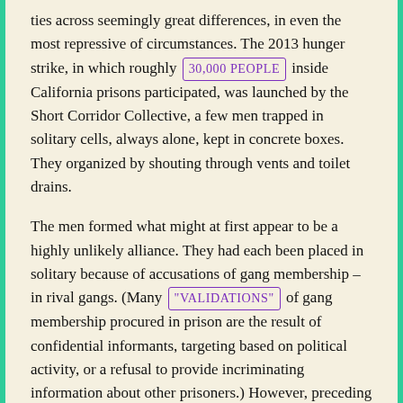ties across seemingly great differences, in even the most repressive of circumstances. The 2013 hunger strike, in which roughly 30,000 PEOPLE inside California prisons participated, was launched by the Short Corridor Collective, a few men trapped in solitary cells, always alone, kept in concrete boxes. They organized by shouting through vents and toilet drains.
The men formed what might at first appear to be a highly unlikely alliance. They had each been placed in solitary because of accusations of gang membership – in rival gangs. (Many "VALIDATIONS" of gang membership procured in prison are the result of confidential informants, targeting based on political activity, or a refusal to provide incriminating information about other prisoners.) However, preceding the hunger strike, the Short Corridor